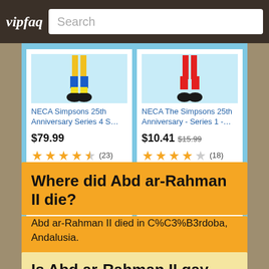vipfaq | Search
[Figure (screenshot): Amazon ad showing two NECA Simpsons products. Left: NECA Simpsons 25th Anniversary Series 4 S... $79.99, 4.5 stars (23). Right: NECA The Simpsons 25th Anniversary - Series 1 -... $10.41 (was $15.99), 4 stars (18). Ads by Amazon.]
Where did Abd ar-Rahman II die?
Abd ar-Rahman II died in C%C3%B3rdoba, Andalusia.
Is Abd ar-Rahman II gay